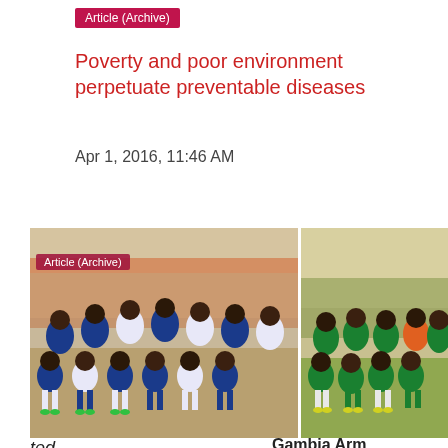Article (Archive)
Poverty and poor environment perpetuate preventable diseases
Apr 1, 2016, 11:46 AM
[Figure (photo): Two football/soccer teams posed for group photos on a field. Left: team in blue and white kits. Right: team in green kits. Archive badge visible on left photo.]
ted
Gambia Ar…